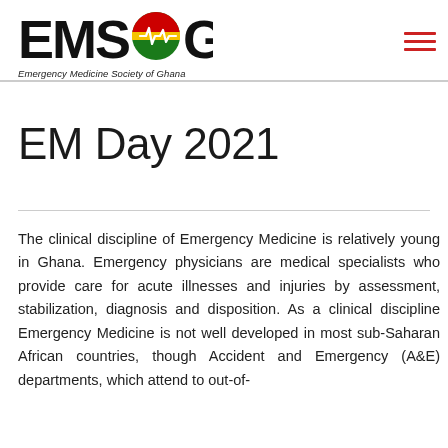[Figure (logo): EMSOG logo — bold black letters 'EMS' with a red/green/yellow circular emblem and 'G', with tagline 'Emergency Medicine Society of Ghana']
EM Day 2021
The clinical discipline of Emergency Medicine is relatively young in Ghana. Emergency physicians are medical specialists who provide care for acute illnesses and injuries by assessment, stabilization, diagnosis and disposition. As a clinical discipline Emergency Medicine is not well developed in most sub-Saharan African countries, though Accident and Emergency (A&E) departments, which attend to out-of-